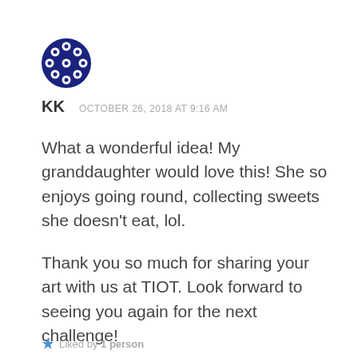[Figure (illustration): Circular avatar icon with dark blue/navy background and white diamond/quatrefoil geometric pattern]
KK   OCTOBER 26, 2018 AT 9:16 AM
What a wonderful idea! My granddaughter would love this! She so enjoys going round, collecting sweets she doesn't eat, lol.

Thank you so much for sharing your art with us at TIOT. Look forward to seeing you again for the next challenge!

Cath x
Liked by 1 person